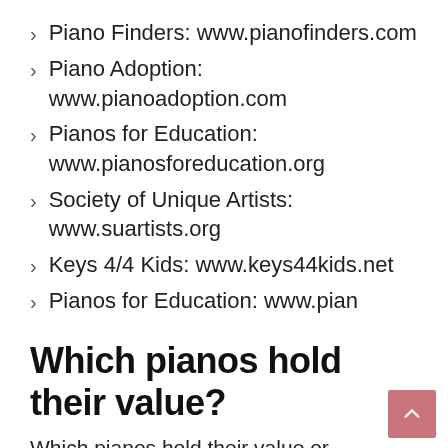Piano Finders: www.pianofinders.com
Piano Adoption: www.pianoadoption.com
Pianos for Education: www.pianosforeducation.org
Society of Unique Artists: www.suartists.org
Keys 4/4 Kids: www.keys44kids.net
Pianos for Education: www.pian
Which pianos hold their value?
Which pianos hold their value or appreciate the most over time? The most valuable